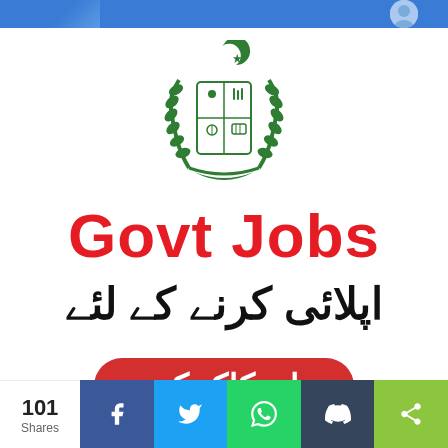[Figure (logo): Pakistan Government emblem/coat of arms — green wreath with crescent and star on top, shield with four quadrants in the center, green ribbon at bottom]
Govt Jobs
اپلائی کرنے کے لئے
یہاں کلک کریں
101 Shares | Facebook | Twitter | WhatsApp | Tumblr | Share